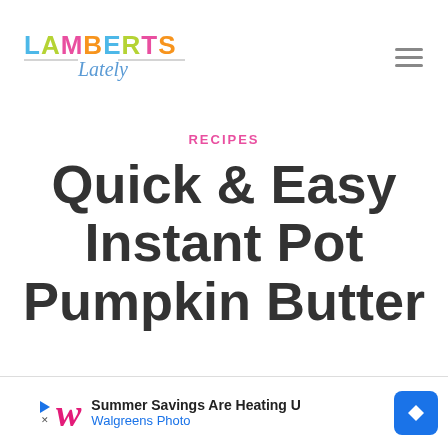LAMBERTS Lately
RECIPES
Quick & Easy Instant Pot Pumpkin Butter
[Figure (other): Advertisement banner: Summer Savings Are Heating U — Walgreens Photo]